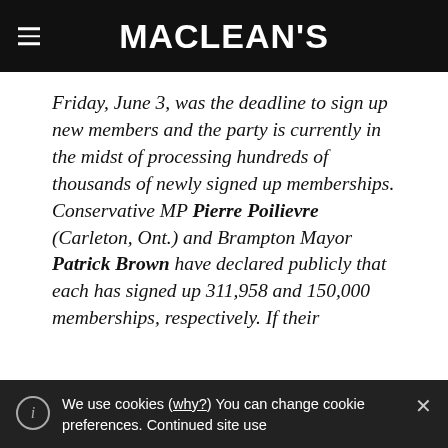MACLEAN'S
Friday, June 3, was the deadline to sign up new members and the party is currently in the midst of processing hundreds of thousands of newly signed up memberships. Conservative MP Pierre Poilievre (Carleton, Ont.) and Brampton Mayor Patrick Brown have declared publicly that each has signed up 311,958 and 150,000 memberships, respectively. If their
We use cookies (why?) You can change cookie preferences. Continued site use